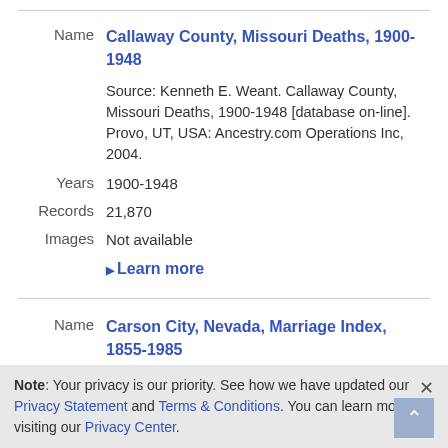| Label | Value |
| --- | --- |
| Name | Callaway County, Missouri Deaths, 1900-1948 |
|  | Source: Kenneth E. Weant. Callaway County, Missouri Deaths, 1900-1948 [database on-line]. Provo, UT, USA: Ancestry.com Operations Inc, 2004. |
| Years | 1900-1948 |
| Records | 21,870 |
| Images | Not available |
|  | Learn more |
| Label | Value |
| --- | --- |
| Name | Carson City, Nevada, Marriage Index, 1855-1985 |
|  | Source: Ancestry.com. Carson City, Nevada, Marriage Index, 1855-1985 [database on-line]. Provo, UT, USA: Ancestry.com Operations, Inc., 2015. |
Note: Your privacy is our priority. See how we have updated our Privacy Statement and Terms & Conditions. You can learn more by visiting our Privacy Center.